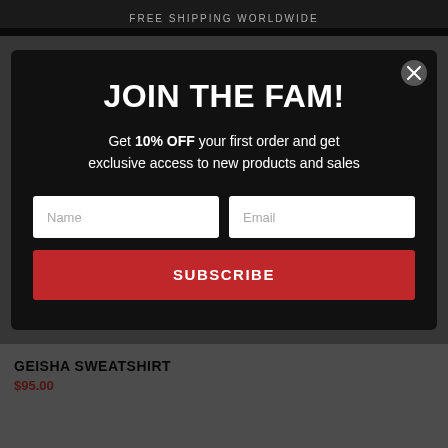FREE SHIPPING WORLDWIDE
JOIN THE FAM!
Get 10% OFF your first order and get exclusive access to new products and sales
Name
Email
SUBSCRIBE
GEISHA SWEATSHIRT
$95.00